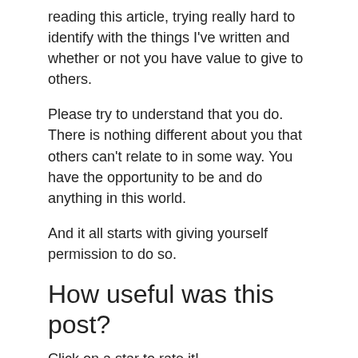reading this article, trying really hard to identify with the things I've written and whether or not you have value to give to others.
Please try to understand that you do. There is nothing different about you that others can't relate to in some way. You have the opportunity to be and do anything in this world.
And it all starts with giving yourself permission to do so.
How useful was this post?
Click on a star to rate it!
[Figure (other): Five empty/unrated star icons in a row for rating]